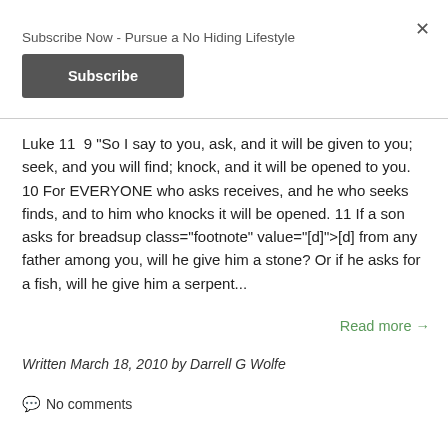Subscribe Now - Pursue a No Hiding Lifestyle
Subscribe
Luke 11  9 "So I say to you, ask, and it will be given to you; seek, and you will find; knock, and it will be opened to you. 10 For EVERYONE who asks receives, and he who seeks finds, and to him who knocks it will be opened. 11 If a son asks for breadsup class="footnote" value="[d]">[d] from any father among you, will he give him a stone? Or if he asks for a fish, will he give him a serpent...
Read more →
Written March 18, 2010 by Darrell G Wolfe
No comments